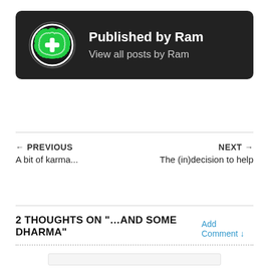[Figure (illustration): Dark rounded rectangle card with a green badge/seal avatar icon on the left and author info on the right]
Published by Ram
View all posts by Ram
← PREVIOUS
A bit of karma...
NEXT →
The (in)decision to help
2 THOUGHTS ON "…AND SOME DHARMA"
Add Comment ↓